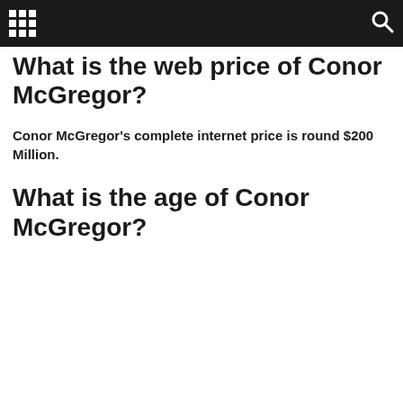What is the web price of Conor McGregor?
Conor McGregor's complete internet price is round $200 Million.
What is the age of Conor McGregor?